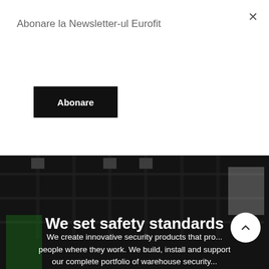Abonare la Newsletter-ul Eurofit
Abonare
create long-term relationships with customers.
[Figure (photo): Warehouse interior with dark overlay, storage racks and shelves visible, worker in yellow vest in foreground]
We set safety standards
We create innovative security products that pro... people where they work. We build, install and support our complete portfolio of warehouse security...